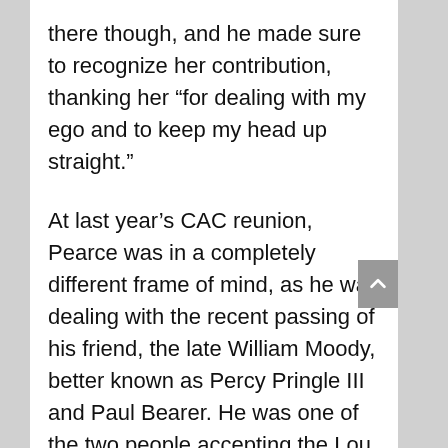there though, and he made sure to recognize her contribution, thanking her “for dealing with my ego and to keep my head up straight.”
At last year’s CAC reunion, Pearce was in a completely different frame of mind, as he was dealing with the recent passing of his friend, the late William Moody, better known as Percy Pringle III and Paul Bearer. He was one of the two people accepting the Lou Thesz Lifetime Achievement on Moody’s behalf.
“When his sons got a hold of me and